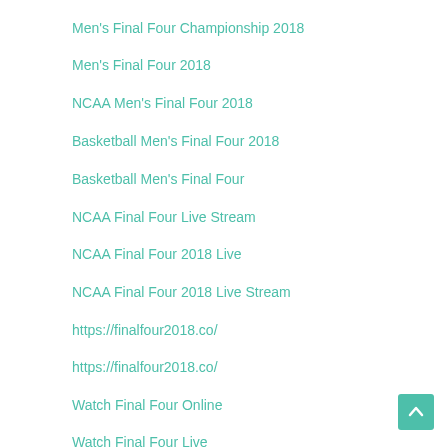Men's Final Four Championship 2018
Men's Final Four 2018
NCAA Men's Final Four 2018
Basketball Men's Final Four 2018
Basketball Men's Final Four
NCAA Final Four Live Stream
NCAA Final Four 2018 Live
NCAA Final Four 2018 Live Stream
https://finalfour2018.co/
https://finalfour2018.co/
Watch Final Four Online
Watch Final Four Live